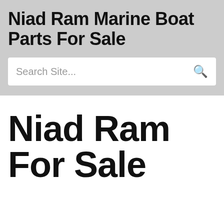Niad Ram Marine Boat Parts For Sale
Search Site...
Niad Ram For Sale